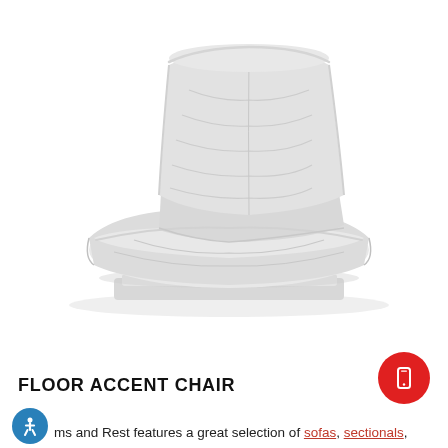[Figure (photo): A light gray upholstered floor accent chair with a low-profile base, tufted seat cushion and backrest, photographed on white background.]
FLOOR ACCENT CHAIR
ms and Rest features a great selection of sofas, sectionals,